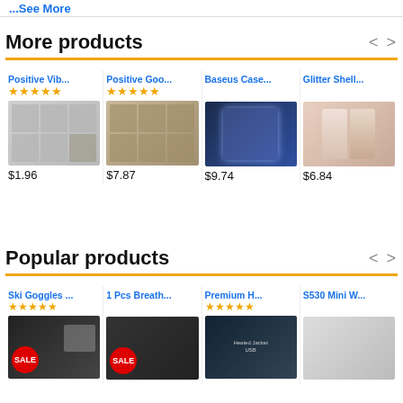...See More
More products
[Figure (screenshot): Product card: Positive Vib... phone cases, 5-star rating, multiple phone case image]
[Figure (screenshot): Product card: Positive Goo... phone cases, 5-star rating, multiple phone case image]
[Figure (screenshot): Product card: Baseus Case... phone case, no star rating shown, phone held with blue light]
[Figure (screenshot): Product card: Glitter Shell... phone case, no star rating shown, pink phone back]
Popular products
[Figure (screenshot): Product card: Ski Goggles ... 5-star rating, SALE badge, ski goggles image]
[Figure (screenshot): Product card: 1 Pcs Breath... no stars, SALE badge, product image]
[Figure (screenshot): Product card: Premium H... 5-star rating, heated jacket with USB image]
[Figure (screenshot): Product card: S530 Mini W... no stars shown]